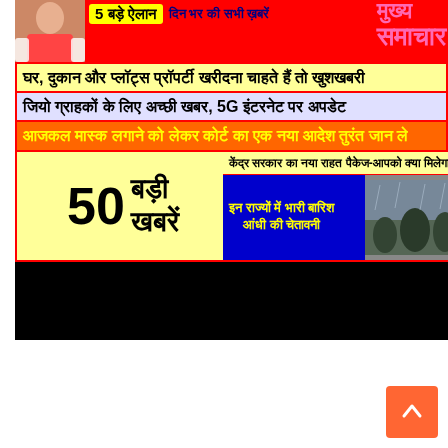[Figure (screenshot): Hindi news website screenshot showing multiple news headlines banner with person photo, colorful background strips. Headlines: '5 बड़े ऐलान', 'दिन भर की सभी खबरें', 'मुख्य समाचार', 'घर, दुकान और प्लॉट्स प्रॉपर्टी खरीदना चाहते हैं तो खुशखबरी', 'जियो ग्राहकों के लिए अच्छी खबर, 5G इंटरनेट पर अपडेट', 'आजकल मास्क लगाने को लेकर कोर्ट का एक नया आदेश तुरंत जान ले', '50 बड़ी खबरें', 'केंद्र सरकार का नया राहत पैकेज-आपको क्या मिलेगा', 'इन राज्यों में भारी बारिश आंधी की चेतावनी']